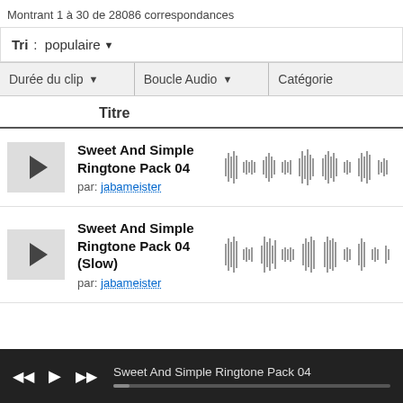Montrant 1 à 30 de 28086 correspondances
Tri : populaire
Durée du clip  Boucle Audio  Catégorie
Titre
Sweet And Simple Ringtone Pack 04
par: jabameister
[Figure (other): Audio waveform visualization for Sweet And Simple Ringtone Pack 04]
Sweet And Simple Ringtone Pack 04 (Slow)
par: jabameister
[Figure (other): Audio waveform visualization for Sweet And Simple Ringtone Pack 04 (Slow)]
Sweet And Simple Ringtone Pack 04